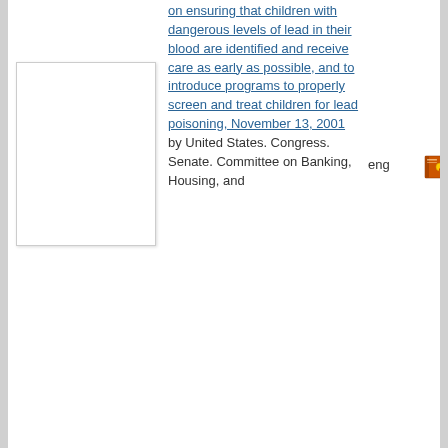[Figure (other): Thumbnail image placeholder (white rectangle with border)]
on ensuring that children with dangerous levels of lead in their blood are identified and receive care as early as possible, and to introduce programs to properly screen and treat children for lead poisoning, November 13, 2001 by United States. Congress. Senate. Committee on Banking, Housing, and